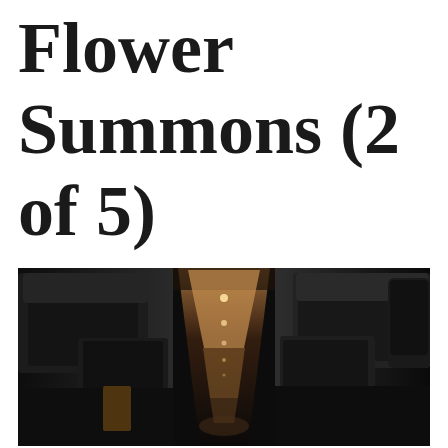Flower Summons (2 of 5)
[Figure (photo): Interior view of a bus or coach aisle at night, showing rows of dark passenger seats receding toward the back, with overhead strip lighting illuminating the center aisle and ceiling panels in warm amber tones. The scene is dark and atmospheric.]